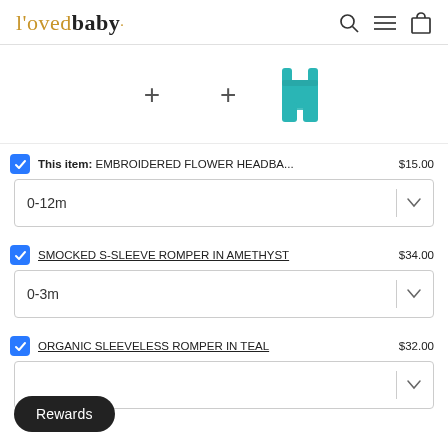l'ovedbaby
[Figure (photo): Teal organic sleeveless romper product image in a bundle layout with two plus signs indicating add-on items]
This item: EMBROIDERED FLOWER HEADBA... $15.00
0-12m (dropdown)
SMOCKED S-SLEEVE ROMPER IN AMETHYST $34.00
0-3m (dropdown)
ORGANIC SLEEVELESS ROMPER IN TEAL $32.00
Rewards